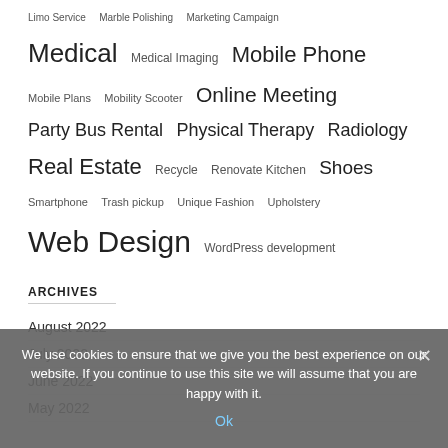Limo Service  Marble Polishing  Marketing Campaign  Medical  Medical Imaging  Mobile Phone  Mobile Plans  Mobility Scooter  Online Meeting  Party Bus Rental  Physical Therapy  Radiology  Real Estate  Recycle  Renovate Kitchen  Shoes  Smartphone  Trash pickup  Unique Fashion  Upholstery  Web Design  WordPress development
ARCHIVES
August 2022
July 2022
June 2022
May 2022
We use cookies to ensure that we give you the best experience on our website. If you continue to use this site we will assume that you are happy with it. Ok